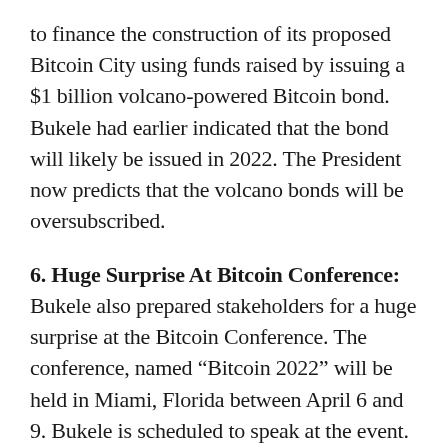to finance the construction of its proposed Bitcoin City using funds raised by issuing a $1 billion volcano-powered Bitcoin bond. Bukele had earlier indicated that the bond will likely be issued in 2022. The President now predicts that the volcano bonds will be oversubscribed.
6. Huge Surprise At Bitcoin Conference: Bukele also prepared stakeholders for a huge surprise at the Bitcoin Conference. The conference, named “Bitcoin 2022” will be held in Miami, Florida between April 6 and 9. Bukele is scheduled to speak at the event.
At last check, Bitcoin was down 0.22% over the past 24 hours to $47,247.62.